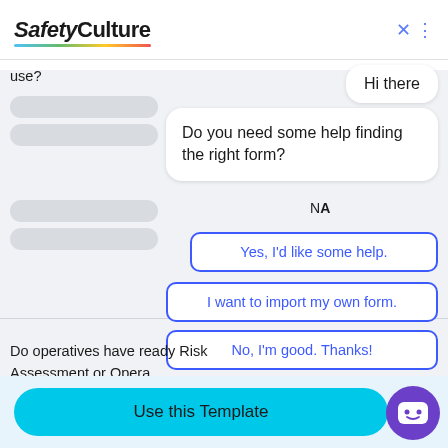[Figure (screenshot): SafetyCulture app header with logo and close button]
use?
Hi there
Do you need some help finding the right form?
NA
Yes, I'd like some help.
I want to import my own form.
No, I'm good. Thanks!
Do operatives have ready Risk Assessment or Opera... using Fixed Ladders?
Use this Template